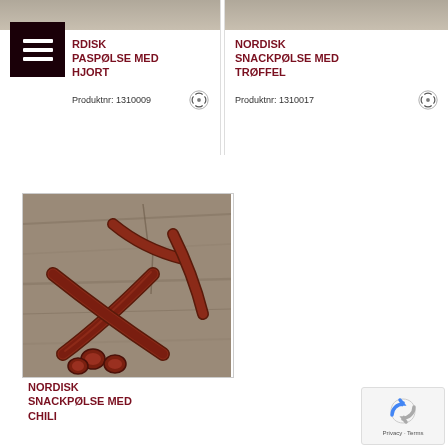[Figure (photo): Grey/beige textured background at top of left product card]
[Figure (logo): Hamburger menu icon - three white horizontal lines on dark red/black square background]
NORDISK SNACKPASPØLSE MED HJORT
Produktnr: 1310009
[Figure (photo): Grey/beige textured background at top of right product card]
NORDISK SNACKPØLSE MED TRØFFEL
Produktnr: 1310017
[Figure (photo): Photo of dried sausages/chorizos on a wooden surface background]
NORDISK SNACKPØLSE MED CHILI
[Figure (other): Google reCAPTCHA badge with spinning arrows logo and Privacy - Terms text]